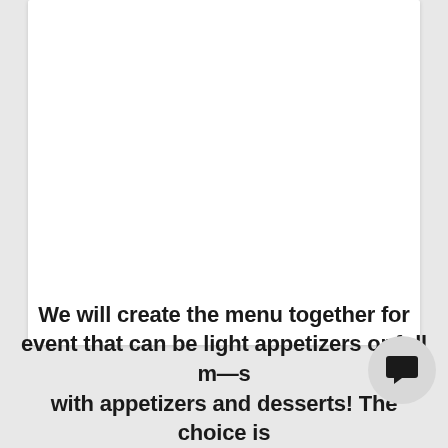[Figure (other): White rectangular card/image placeholder with light shadow on grey background]
We will create the menu together for event that can be light appetizers or full meals with appetizers and desserts! The choice is